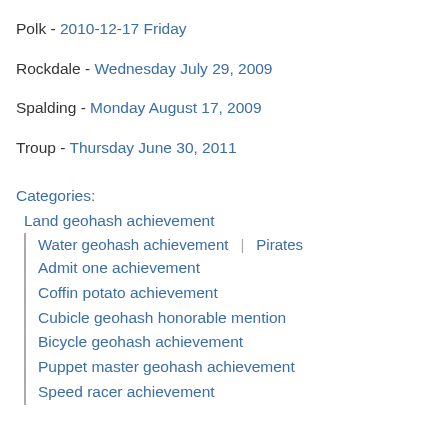Polk - 2010-12-17 Friday
Rockdale - Wednesday July 29, 2009
Spalding - Monday August 17, 2009
Troup - Thursday June 30, 2011
Categories:
Land geohash achievement
Water geohash achievement | Pirates
Admit one achievement
Coffin potato achievement
Cubicle geohash honorable mention
Bicycle geohash achievement
Puppet master geohash achievement
Speed racer achievement